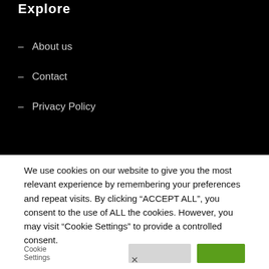Explore
– About us
– Contact
– Privacy Policy
We use cookies on our website to give you the most relevant experience by remembering your preferences and repeat visits. By clicking “ACCEPT ALL”, you consent to the use of ALL the cookies. However, you may visit "Cookie Settings" to provide a controlled consent.